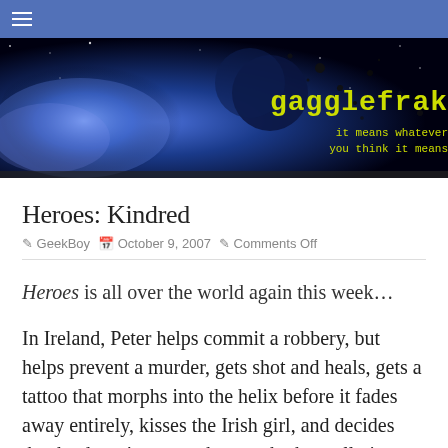[Figure (screenshot): Blue navigation bar with hamburger menu icon]
[Figure (screenshot): Gagglefrak blog banner with space/galaxy imagery. Text: 'gagglefrak' in yellow monospace, 'it means whatever you think it means' in yellow monospace]
Heroes: Kindred
GeekBoy  October 9, 2007  Comments Off
Heroes is all over the world again this week…
In Ireland, Peter helps commit a robbery, but helps prevent a murder, gets shot and heals, gets a tattoo that morphs into the helix before it fades away entirely, kisses the Irish girl, and decides that he doesn't want to know who he really is. Probably for